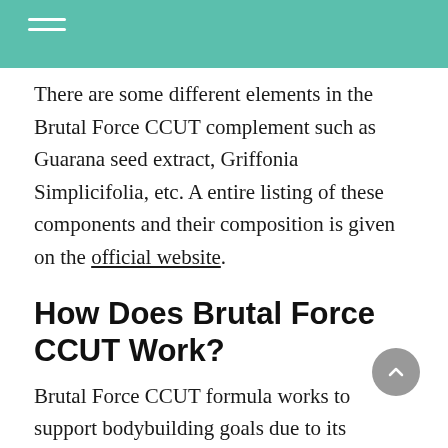There are some different elements in the Brutal Force CCUT complement such as Guarana seed extract, Griffonia Simplicifolia, etc. A entire listing of these components and their composition is given on the official website.
How Does Brutal Force CCUT Work?
Brutal Force CCUT formula works to support bodybuilding goals due to its composition of organic and natural ingredients. Most of these have been used by many cultures over the centuries to get a fit and toned body.